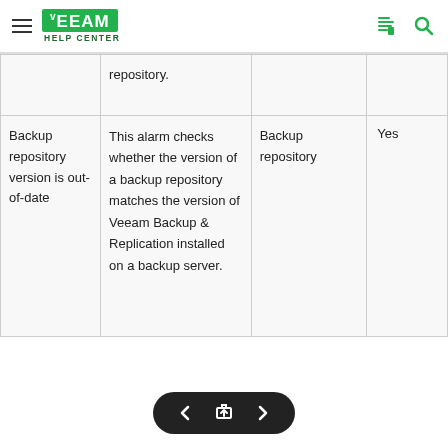Veeam Help Center
|  | repository. |  |  |
| Backup repository version is out-of-date | This alarm checks whether the version of a backup repository matches the version of Veeam Backup & Replication installed on a backup server. | Backup repository | Yes |